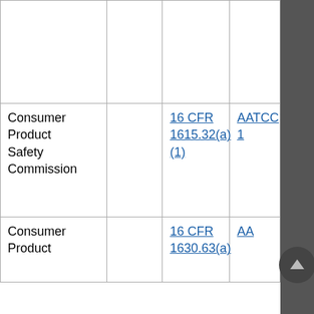|  |  |  |  |
| Consumer Product Safety Commission |  | 16 CFR 1615.32(a)(1) | AATCC 1... |
| Consumer Product |  | 16 CFR 1630.63(a) | AA...1 |